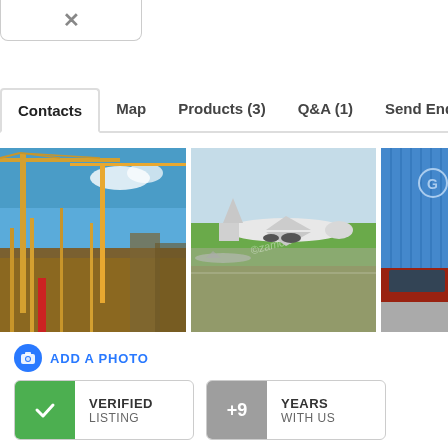[Figure (screenshot): Close button (X) in top bar]
Contacts  Map  Products (3)  Q&A (1)  Send Enqui...
[Figure (photo): Construction cranes at a building site with blue sky]
[Figure (photo): Airplane on airport tarmac with green surroundings]
[Figure (photo): Blue shipping container on a truck (partially visible)]
ADD A PHOTO
VERIFIED LISTING
+9 YEARS WITH US
COMPANY NAME